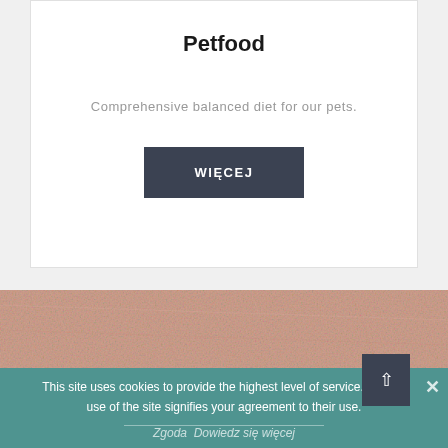Petfood
Comprehensive balanced diet for our pets.
WIĘCEJ
[Figure (photo): Salmon-pink textured background resembling raw meat or fibrous material]
This site uses cookies to provide the highest level of service. Further use of the site signifies your agreement to their use.
Zgoda  Dowiedz się więcej